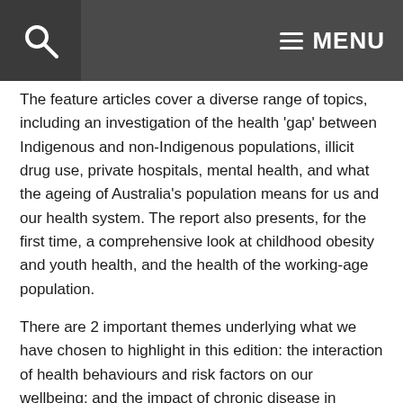MENU
The feature articles cover a diverse range of topics, including an investigation of the health ‘gap’ between Indigenous and non-Indigenous populations, illicit drug use, private hospitals, mental health, and what the ageing of Australia’s population means for us and our health system. The report also presents, for the first time, a comprehensive look at childhood obesity and youth health, and the health of the working-age population.
There are 2 important themes underlying what we have chosen to highlight in this edition: the interaction of health behaviours and risk factors on our wellbeing; and the impact of chronic disease in Australia, both individually and as a nation.
The AIHW manages many important national health information collections, and relies on the cooperation of state and territory governments, the Australian Bureau of Statistics, other independent bodies and the non-government sector to ensure the accurate and timeliness of health-related data. There have been many improvements and enhancements to national health